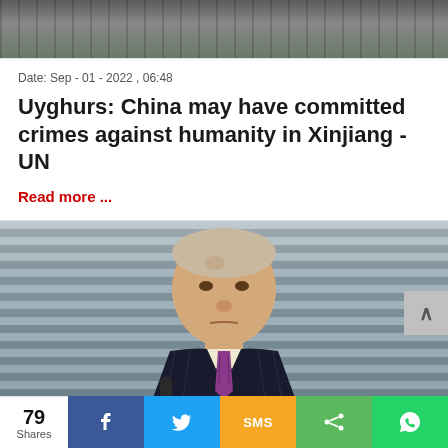[Figure (photo): Top partial image strip showing dark fence/barrier background]
Date: Sep - 01 - 2022 , 06:48
Uyghurs: China may have committed crimes against humanity in Xinjiang - UN
Read more ...
[Figure (photo): Portrait photo of Mikhail Gorbachev in a pinstripe suit with purple tie, looking serious, against a blurred blinds background]
Date: Aug - 31 - 2022 , 07:37
79 Shares